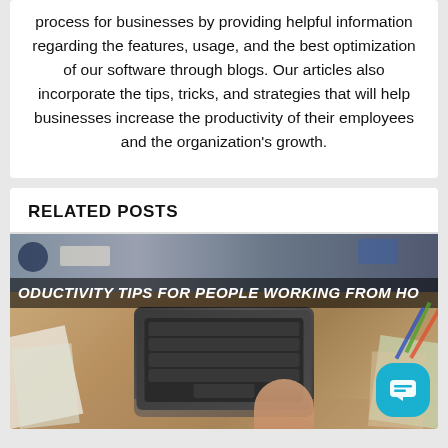process for businesses by providing helpful information regarding the features, usage, and the best optimization of our software through blogs. Our articles also incorporate the tips, tricks, and strategies that will help businesses increase the productivity of their employees and the organization's growth.
RELATED POSTS
[Figure (photo): A person working at a desk with a laptop, papers, and other work materials. Overlay text reads 'PRODUCTIVITY TIPS FOR PEOPLE WORKING FROM HOME'. A teal chat bubble icon is visible in the bottom right corner.]